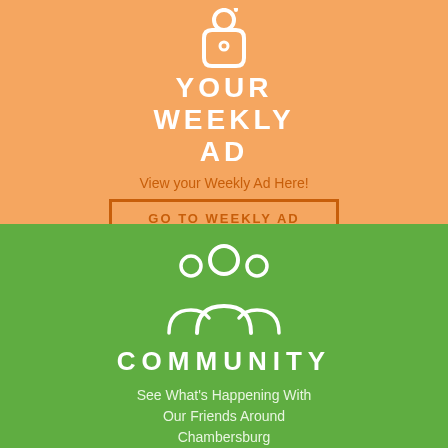[Figure (illustration): White icon of a tag or price-tag shape on orange background]
YOUR WEEKLY AD
View your Weekly Ad Here!
GO TO WEEKLY AD
[Figure (illustration): White icon of three people / community group on green background]
COMMUNITY
See What's Happening With Our Friends Around Chambersburg